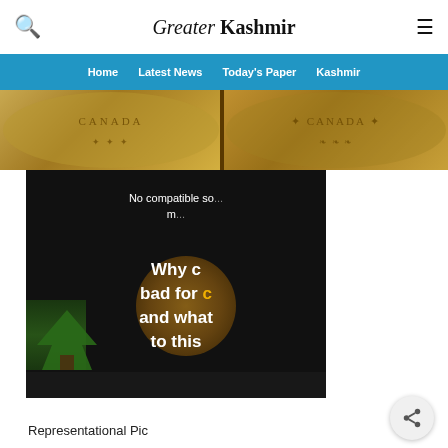Greater Kashmir
Home  Latest News  Today's Paper  Kashmir
[Figure (photo): Close-up photograph of coins, split into two images side by side showing coin details]
[Figure (screenshot): Video player showing dark background with text: No compatible so... (source) m... Why c... bad for c... and what... to this... with a tree and coin visible]
Representational Pic